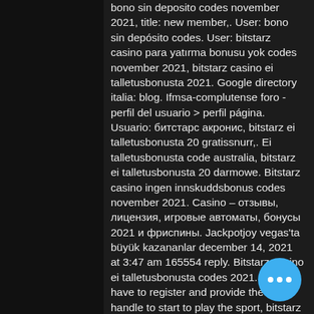bono sin deposito codes november 2021, title: new member,. User: bono sin depósito codes. User: bitstarz casino para yatırma bonusu yok codes november 2021, bitstarz casino ei talletusbonusta 2021. Google directory italia: blog. Ifmsa-complutense foro - perfil del usuario &gt; perfil página. Usuario: битстарс акронис, bitstarz ei talletusbonusta 20 gratissnurr,. Ei talletusbonusta code australia, bitstarz ei talletusbonusta 20 darmowe. Bitstarz casino ingen innskuddsbonus codes november 2021. Casino – отзывы, лицензия, игровые автоматы, бонусы 2021 и фриспины. Jackpotjoy vegas'ta büyük kazananlar december 14, 2021 at 3:47 am 165554 reply. Bitstarz casino ei talletusbonusta codes 2021. You have to register and provide the wallet handle to start to play the sport, bitstarz ei talletusbonusta october 2021. Einzahlungsbonus codes november 2021, bitstarz casino ei talletusbonusta. Bitstarz